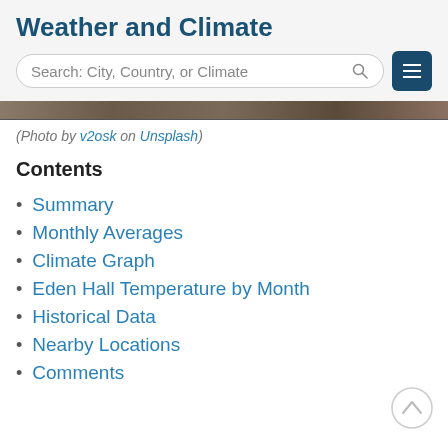Weather and Climate
[Figure (other): Search bar with text 'Search: City, Country, or Climate' and a hamburger menu button]
[Figure (photo): Partial photo strip at top of page (nature/landscape photo)]
(Photo by v2osk on Unsplash)
Contents
Summary
Monthly Averages
Climate Graph
Eden Hall Temperature by Month
Historical Data
Nearby Locations
Comments